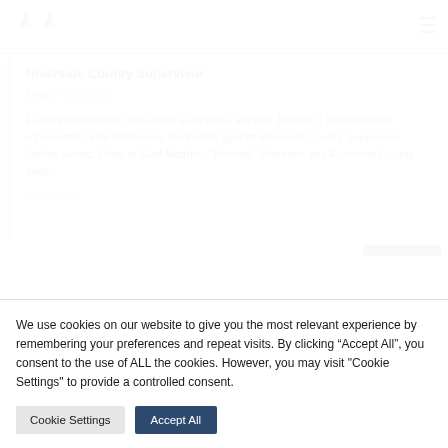MW [logo] | hamburger menu
Representing Plaintiff in Sexual Harassment Suit Against Riverside County Supervisor
March 11, 2022
Featured recently in The Press-Enterprise, Partner Joseph L. Richardson is representing Plaintiff Brenda Dennstedt against Riverside County Supervisor Jeffrey Hewitt, Chief of Staff Matthew “Boomer” Shannon, and Riverside County itself...
Firm News
We use cookies on our website to give you the most relevant experience by remembering your preferences and repeat visits. By clicking “Accept All”, you consent to the use of ALL the cookies. However, you may visit "Cookie Settings" to provide a controlled consent.
Cookie Settings
Accept All